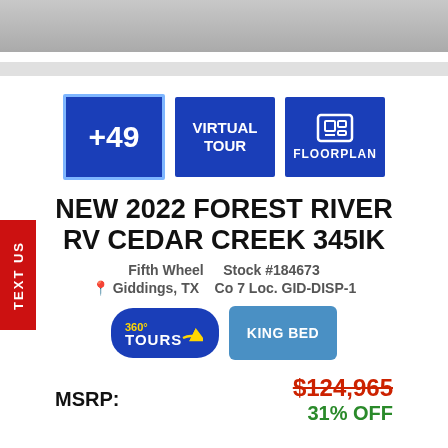[Figure (photo): Top portion of an RV product listing photo strip (cropped image of an RV interior or exterior)]
[Figure (infographic): Three blue buttons: +49 photos, Virtual Tour, and Floorplan]
NEW 2022 FOREST RIVER RV CEDAR CREEK 345IK
Fifth Wheel   Stock #184673
Giddings, TX   Co 7 Loc. GID-DISP-1
[Figure (logo): 360 Tours badge and King Bed button]
MSRP: $124,965  31% OFF